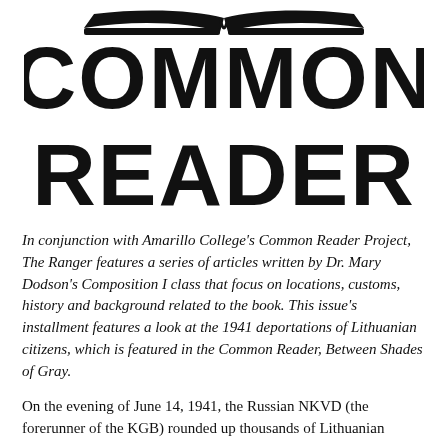[Figure (logo): Common Reader logo with open book icon above large bold black text reading COMMON READER]
In conjunction with Amarillo College's Common Reader Project, The Ranger features a series of articles written by Dr. Mary Dodson's Composition I class that focus on locations, customs, history and background related to the book. This issue's installment features a look at the 1941 deportations of Lithuanian citizens, which is featured in the Common Reader, Between Shades of Gray.
On the evening of June 14, 1941, the Russian NKVD (the forerunner of the KGB) rounded up thousands of Lithuanian